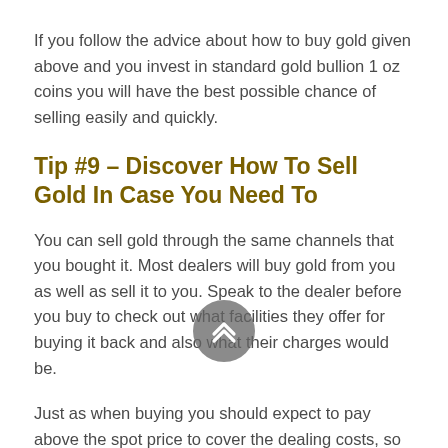If you follow the advice about how to buy gold given above and you invest in standard gold bullion 1 oz coins you will have the best possible chance of selling easily and quickly.
Tip #9 – Discover How To Sell Gold In Case You Need To
You can sell gold through the same channels that you bought it. Most dealers will buy gold from you as well as sell it to you. Speak to the dealer before you buy to check out what facilities they offer for buying it back and also what their charges would be.
Just as when buying you should expect to pay above the spot price to cover the dealing costs, so you should expect to get below the spot price when you sell also to cover the dealing costs. This is known as the spread